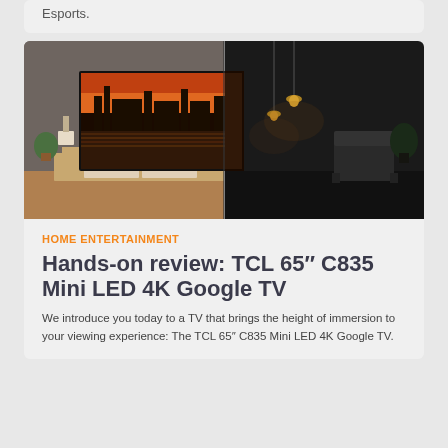Esports.
[Figure (photo): TCL TV mounted on a wall in a living room, split view showing bright and dark room settings, with London Parliament image displayed on screen]
HOME ENTERTAINMENT
Hands-on review: TCL 65″ C835 Mini LED 4K Google TV
We introduce you today to a TV that brings the height of immersion to your viewing experience: The TCL 65″ C835 Mini LED 4K Google TV.